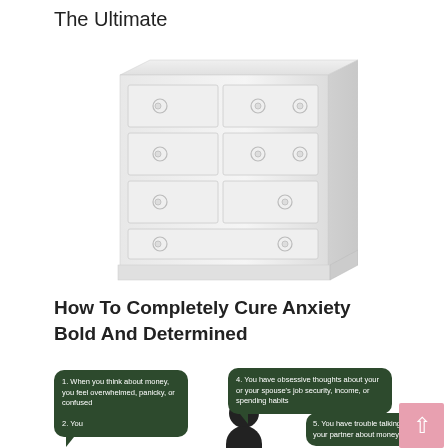The Ultimate
[Figure (illustration): A white wooden dresser with multiple drawers and round knobs, illustrated in a light sketch style.]
How To Completely Cure Anxiety Bold And Determined
[Figure (infographic): Infographic with dark green speech bubbles showing anxiety-related statements around a person silhouette. Bubble 1: '1. When you think about money, you feel overwhelmed, panicky, or confused'. Bubble 2 (partially visible): '2. You...'. Bubble 3: '4. You have obsessive thoughts about your or your spouse's job security, income, or spending habits'. Bubble 4: '5. You have trouble talking with your partner about money, or...'. A pink scroll-to-top button is visible in the bottom right corner.]